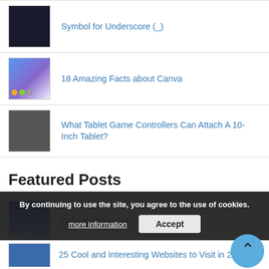Symbol for Underscore (_)
18 Amazing Facts about Canva
What Tablet Game Controllers Can Attach A 10-Inch Tablet?
Featured Posts
Different Types of Tech Gadgets
25 Cool and Interesting Websites to Visit in 2022
By continuing to use the site, you agree to the use of cookies.
more information
Accept